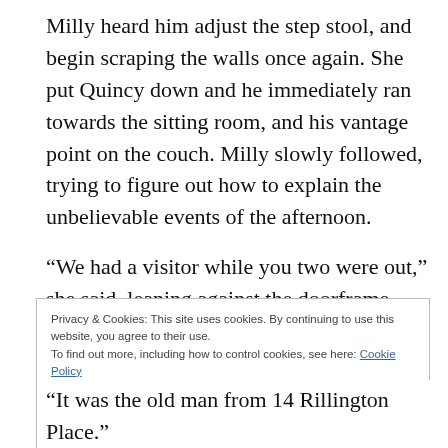Milly heard him adjust the step stool, and begin scraping the walls once again. She put Quincy down and he immediately ran towards the sitting room, and his vantage point on the couch. Milly slowly followed, trying to figure out how to explain the unbelievable events of the afternoon.
“We had a visitor while you two were out,” she said, leaning against the doorframe.
Privacy & Cookies: This site uses cookies. By continuing to use this website, you agree to their use.
To find out more, including how to control cookies, see here: Cookie Policy
“It was the old man from 14 Rillington Place.”